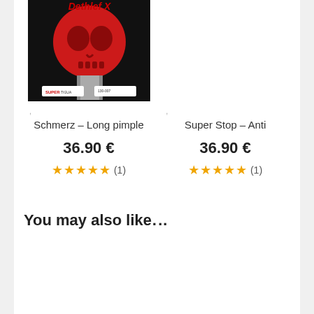[Figure (photo): Table tennis rubber product with skull design on black background, showing product labels at bottom]
Schmerz – Long pimple
36.90 €
★★★★★ (1)
Super Stop – Anti
36.90 €
★★★★☆ (1)
You may also like…